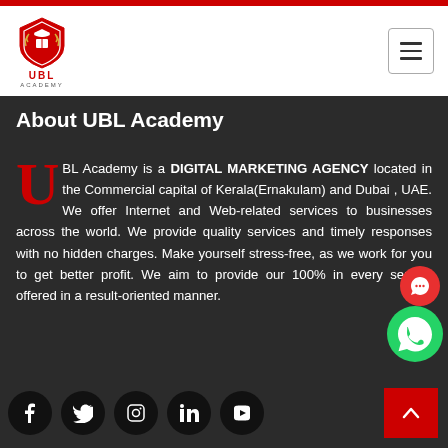[Figure (logo): UBL Academy logo with red shield/crest and text UBL ACADEMY]
About UBL Academy
UBL Academy is a DIGITAL MARKETING AGENCY located in the Commercial capital of Kerala(Ernakulam) and Dubai , UAE. We offer Internet and Web-related services to businesses across the world. We provide quality services and timely responses with no hidden charges. Make yourself stress-free, as we work for you to get better profit. We aim to provide our 100% in every service offered in a result-oriented manner.
Social media icons: Facebook, Twitter, Instagram, LinkedIn, YouTube